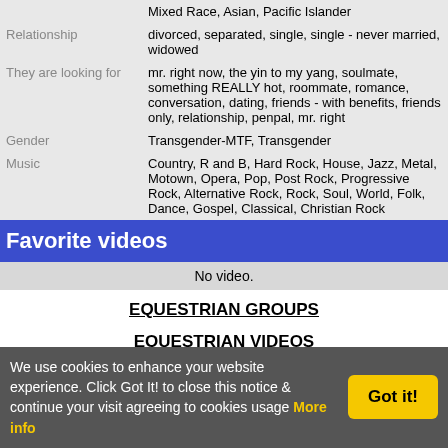|  |  |
| --- | --- |
|  | Mixed Race, Asian, Pacific Islander |
| Relationship | divorced, separated, single, single - never married, widowed |
| They are looking for | mr. right now, the yin to my yang, soulmate, something REALLY hot, roommate, romance, conversation, dating, friends - with benefits, friends only, relationship, penpal, mr. right |
| Gender | Transgender-MTF, Transgender |
| Music | Country, R and B, Hard Rock, House, Jazz, Metal, Motown, Opera, Pop, Post Rock, Progressive Rock, Alternative Rock, Rock, Soul, World, Folk, Dance, Gospel, Classical, Christian Rock |
Favorite videos
No video.
EQUESTRIAN GROUPS
EQUESTRIAN VIDEOS
We use cookies to enhance your website experience. Click Got It! to close this notice & continue your visit agreeing to cookies usage More info